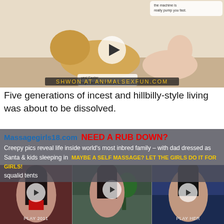[Figure (screenshot): Screenshot of an adult animated image with watermark text 'SHWON AT ANIMALSEXFUN.COM' at bottom, play button overlay in center]
Five generations of incest and hillbilly-style living was about to be dissolved.
Creepy pics reveal life inside world's most inbred family – with dad dressed as Santa & kids sleeping in squalid tents
[Figure (screenshot): Advertisement overlay showing massage/adult site with red text 'NEED A RUB DOWN?' and yellow text 'MAYBE A SELF MASSAGE? LET THE GIRLS DO IT FOR GIRLS!']
[Figure (screenshot): Three adult video thumbnails at bottom with play buttons, labeled 'PLAY 2011' and 'PLAY HER']